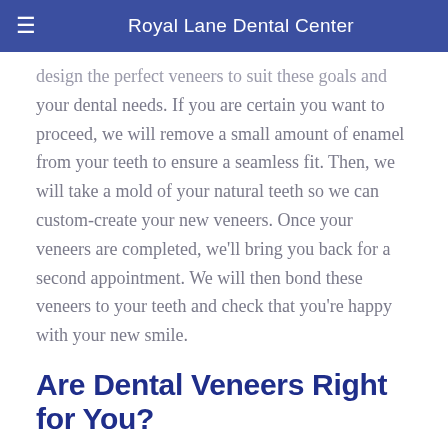Royal Lane Dental Center
design the perfect veneers to suit these goals and your dental needs. If you are certain you want to proceed, we will remove a small amount of enamel from your teeth to ensure a seamless fit. Then, we will take a mold of your natural teeth so we can custom-create your new veneers. Once your veneers are completed, we'll bring you back for a second appointment. We will then bond these veneers to your teeth and check that you're happy with your new smile.
Are Dental Veneers Right for You?
Don't just take our word for it — listen to the stars! A multitude of celebrities, including Zac Efron, Victoria